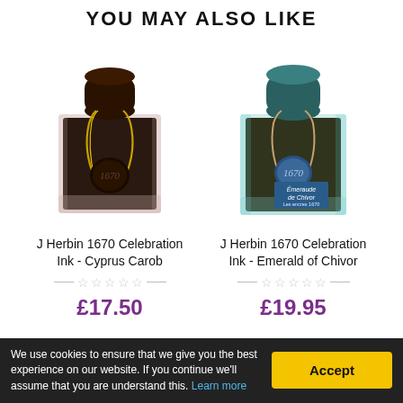YOU MAY ALSO LIKE
[Figure (photo): J Herbin 1670 Celebration Ink bottle - Cyprus Carob, dark square glass bottle with black cap, gold wax seal and gold twine]
J Herbin 1670 Celebration Ink - Cyprus Carob
☆☆☆☆☆
£17.50
[Figure (photo): J Herbin 1670 Celebration Ink bottle - Emerald of Chivor, square glass bottle with teal/blue tint, dark teal cap, blue wax seal with tan twine, label reading Emeraude de Chivor]
J Herbin 1670 Celebration Ink - Emerald of Chivor
☆☆☆☆☆
£19.95
We use cookies to ensure that we give you the best experience on our website. If you continue we'll assume that you are understand this. Learn more
Accept